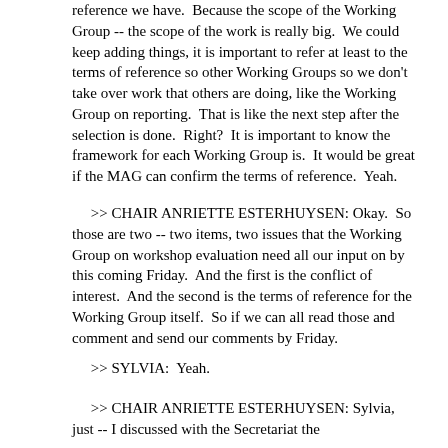reference we have.  Because the scope of the Working Group -- the scope of the work is really big.  We could keep adding things, it is important to refer at least to the terms of reference so other Working Groups so we don't take over work that others are doing, like the Working Group on reporting.  That is like the next step after the selection is done.  Right?  It is important to know the framework for each Working Group is.  It would be great if the MAG can confirm the terms of reference.  Yeah.
>> CHAIR ANRIETTE ESTERHUYSEN: Okay.  So those are two -- two items, two issues that the Working Group on workshop evaluation need all our input on by this coming Friday.  And the first is the conflict of interest.  And the second is the terms of reference for the Working Group itself.  So if we can all read those and comment and send our comments by Friday.
>> SYLVIA:  Yeah.
>> CHAIR ANRIETTE ESTERHUYSEN: Sylvia, just -- I discussed with the Secretariat the